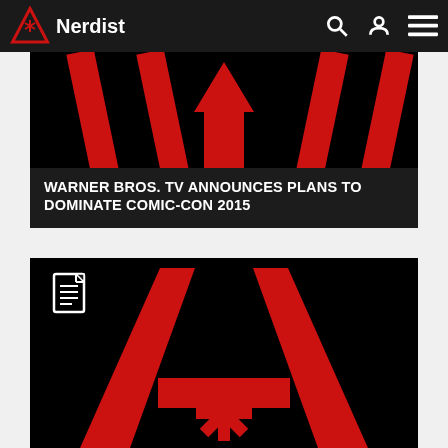Nerdist
WARNER BROS. TV ANNOUNCES PLANS TO DOMINATE COMIC-CON 2015
[Figure (logo): Nerdist logo - red triangle with asterisk symbol on black background, partial view showing red diagonal lines and upward arrow shapes]
[Figure (logo): Nerdist logo - large red triangle A-shape with asterisk/star in center on black background, document icon overlay in upper left]